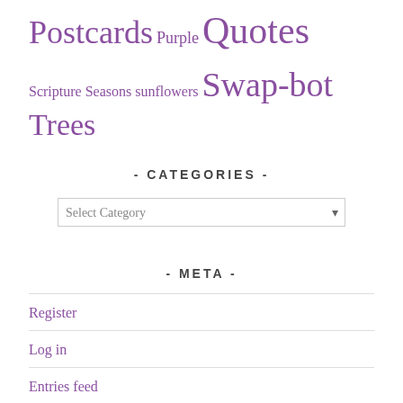Postcards Purple Quotes Scripture Seasons sunflowers Swap-bot Trees
- CATEGORIES -
Select Category
- META -
Register
Log in
Entries feed